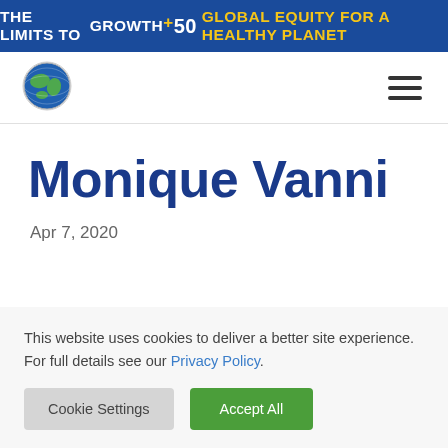THE LIMITS TO GROWTH +50 GLOBAL EQUITY FOR A HEALTHY PLANET
[Figure (logo): Globe/world icon logo for The Limits to Growth organization]
Monique Vanni
Apr 7, 2020
This website uses cookies to deliver a better site experience. For full details see our Privacy Policy.